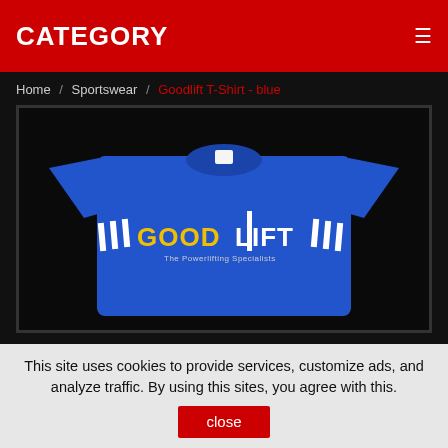CATEGORY
Home / Sportswear / Goodlift T-Shirt - blue
[Figure (photo): Blue Goodlift T-shirt with the Goodlift powerlifting specialists logo printed on the chest, displayed flat against a dark background.]
This site uses cookies to provide services, customize ads, and analyze traffic. By using this sites, you agree with this.
close